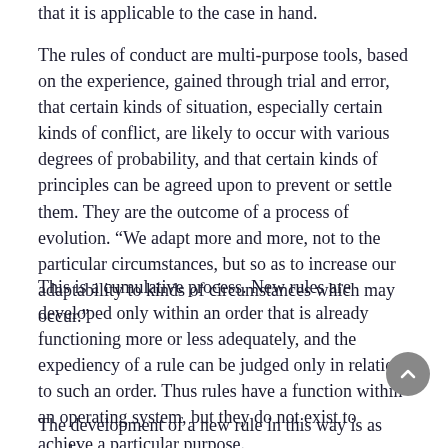that it is applicable to the case in hand.
The rules of conduct are multi-purpose tools, based on the experience, gained through trial and error, that certain kinds of situation, especially certain kinds of conflict, are likely to occur with various degrees of probability, and that certain kinds of principles can be agreed upon to prevent or settle them. They are the outcome of a process of evolution. “We adapt more and more, not to the particular circumstances, but so as to increase our adaptability to kinds of circumstances which may occur.”
This is a cumulative process. New rules are developed only within an order that is already functioning more or less adequately, and the expediency of a rule can be judged only in relation to such an order. Thus rules have a function within an operating system, but they do not exist to achieve a particular purpose.
The development of a new rule in this way is as much